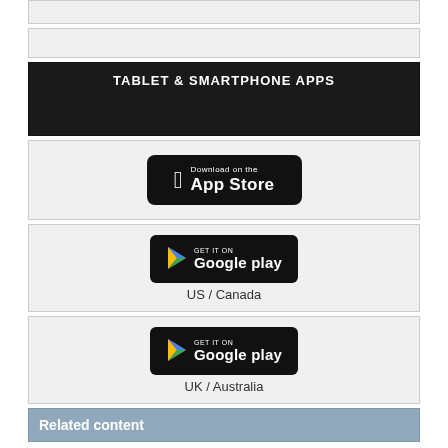[Figure (other): Top gray bar placeholder section]
[Figure (other): Second gray bar placeholder section]
TABLET & SMARTPHONE APPS
[Figure (other): Download on the App Store badge (Apple)]
[Figure (other): Get it on Google Play badge - US / Canada]
US / Canada
[Figure (other): Get it on Google Play badge - UK / Australia]
UK / Australia
Related content
Command Line: Debian Goodies
The Debian Goodies collection offers a variety of time-tested